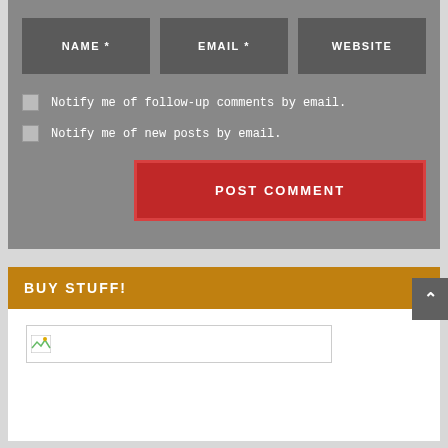[Figure (screenshot): Web form with NAME*, EMAIL*, WEBSITE input fields, two checkboxes for email notifications, and a POST COMMENT button]
Notify me of follow-up comments by email.
Notify me of new posts by email.
POST COMMENT
BUY STUFF!
[Figure (photo): Broken image placeholder in white content area]